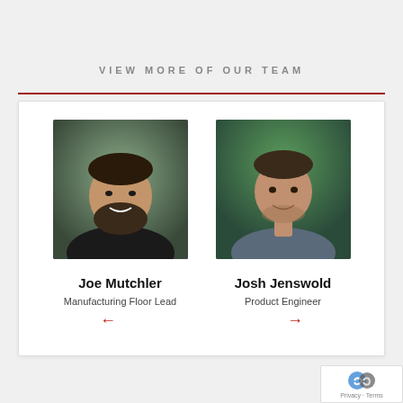VIEW MORE OF OUR TEAM
[Figure (photo): Photo of Joe Mutchler, a bearded man smiling, wearing a black jacket, outdoors background]
Joe Mutchler
Manufacturing Floor Lead
[Figure (photo): Photo of Josh Jenswold, a smiling man wearing a grey polo shirt, green outdoor background]
Josh Jenswold
Product Engineer
[Figure (other): reCAPTCHA privacy badge with Privacy and Terms links]